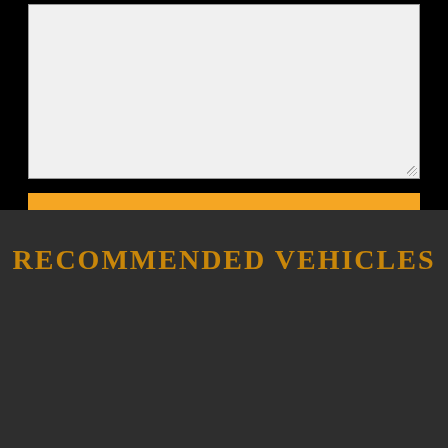[Figure (screenshot): A large empty text area input field with a resize handle in the bottom-right corner, on a black background.]
[Figure (other): Orange SEND button with white bold text on black background.]
RECOMMENDED VEHICLES
[Figure (photo): Photo of a classic car dealership interior with 'IDEAL CLASSIC CARS' sign, featuring a yellow muscle car in the foreground and a black vintage car, with a person in red clothing visible in the background.]